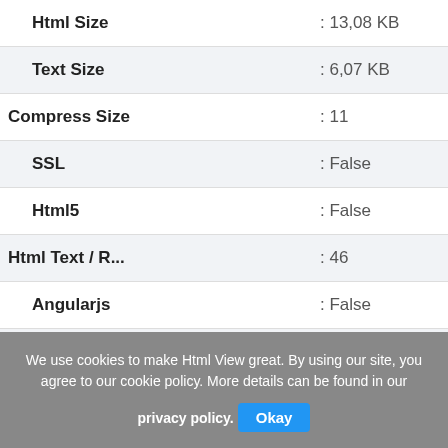| Property | Value |
| --- | --- |
| Html Size | : 13,08 KB |
| Text Size | : 6,07 KB |
| Compress Size | : 11 |
| SSL | : False |
| Html5 | : False |
| Html Text / R... | : 46 |
| Angularjs | : False |
| Bootstrap | : False |
| Css3 | : False |
We use cookies to make Html View great. By using our site, you agree to our cookie policy. More details can be found in our privacy policy. Okay